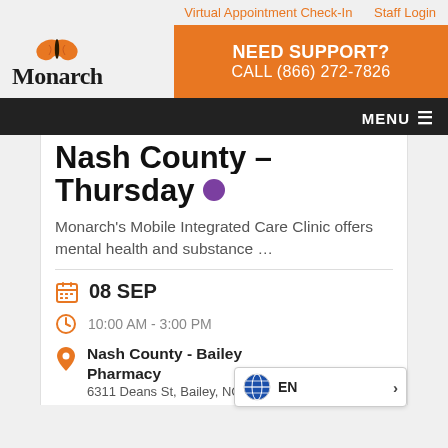Virtual Appointment Check-In   Staff Login
[Figure (logo): Monarch butterfly logo with text 'Monarch']
NEED SUPPORT?
CALL (866) 272-7826
MENU
Nash County – Thursday
Monarch's Mobile Integrated Care Clinic offers mental health and substance …
08 SEP
10:00 AM - 3:00 PM
Nash County - Bailey Pharmacy
6311 Deans St, Bailey, NC 278